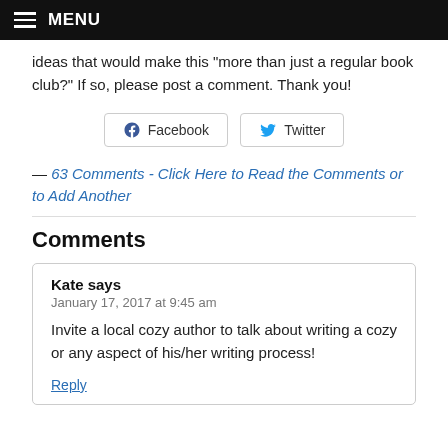MENU
ideas that would make this "more than just a regular book club?" If so, please post a comment. Thank you!
[Figure (other): Facebook and Twitter share buttons]
— 63 Comments - Click Here to Read the Comments or to Add Another
Comments
Kate says
January 17, 2017 at 9:45 am
Invite a local cozy author to talk about writing a cozy or any aspect of his/her writing process!
Reply